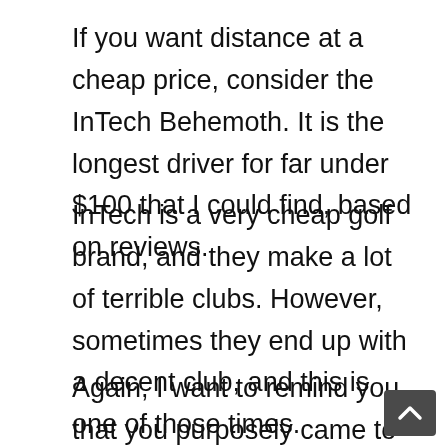If you want distance at a cheap price, consider the InTech Behemoth. It is the longest driver for far under $100 that I could find, based on reviews.
InTech is a very cheap golf brand, and they make a lot of terrible clubs. However, sometimes they end up with a decent club, and this is one of those times.
Again, I want to remind you that you purposely came to this article that is focused on CHEAP golf clubs, so